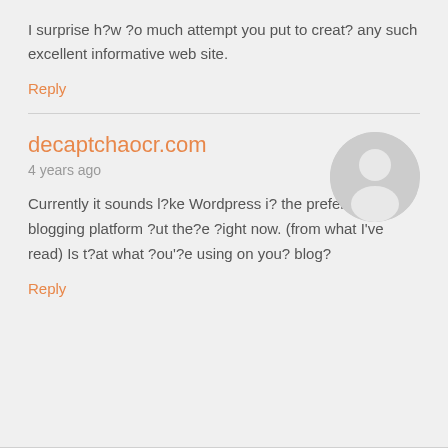I surprise h?w ?o much attempt you put to creat? any such excellent informative web site.
Reply
decaptchaocr.com
4 years ago
Currently it sounds l?ke Wordpress i? the preferred blogging platform ?ut the?e ?ight now. (from what I've read) Is t?at what ?ou'?e using on you? blog?
Reply